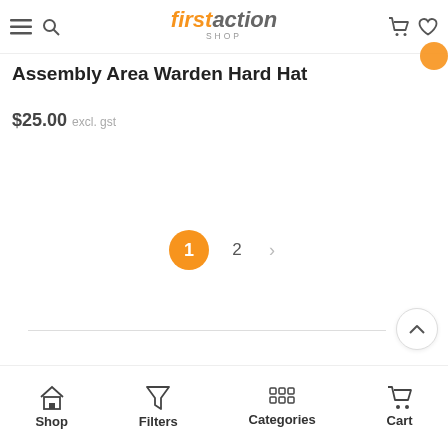firstaction SHOP
Assembly Area Warden Hard Hat
$25.00 excl. gst
1 2 >
Shop  Filters  Categories  Cart